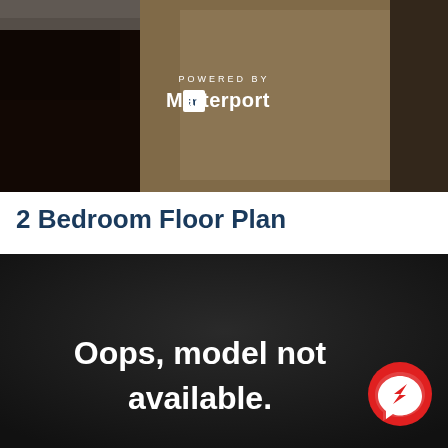[Figure (photo): Interior photo of a room with dark wood cabinets and granite countertop, overlaid with 'POWERED BY Matterport' logo and text in white]
2 Bedroom Floor Plan
[Figure (screenshot): Dark background panel with white text reading 'Oops, model not available.' and a red Facebook Messenger icon in the bottom right]